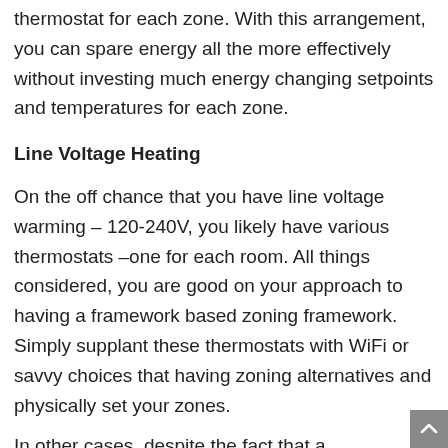thermostat for each zone. With this arrangement, you can spare energy all the more effectively without investing much energy changing setpoints and temperatures for each zone.
Line Voltage Heating
On the off chance that you have line voltage warming – 120-240V, you likely have various thermostats –one for each room. All things considered, you are good on your approach to having a framework based zoning framework. Simply supplant these thermostats with WiFi or savvy choices that having zoning alternatives and physically set your zones.
In other cases, despite the fact that a decentralized warming system is progressively basic for high voltage circumstances there are special cases. Fan loop thermostats are a sort o